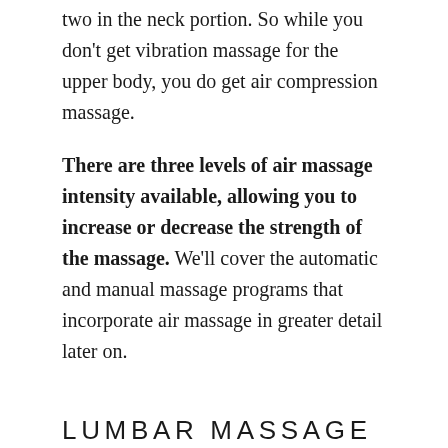two in the neck portion. So while you don't get vibration massage for the upper body, you do get air compression massage.
There are three levels of air massage intensity available, allowing you to increase or decrease the strength of the massage. We'll cover the automatic and manual massage programs that incorporate air massage in greater detail later on.
LUMBAR MASSAGE ROLLERS
Although the Omega Skyline lacks a full-length massage roller system, two fixed position rollers provide kneading massage for the lower back. The